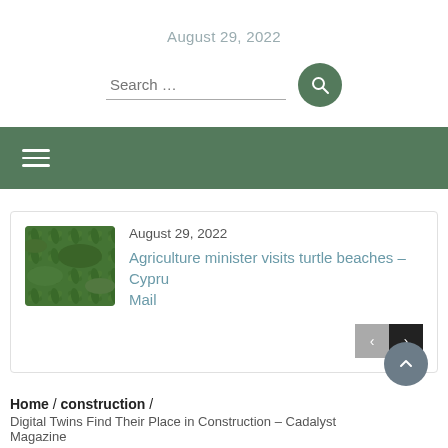August 29, 2022
Search ...
[Figure (screenshot): Green navigation bar with hamburger menu icon]
[Figure (photo): Small thumbnail image of green agricultural field]
August 29, 2022
Agriculture minister visits turtle beaches – Cyprus Mail
Home / construction / Digital Twins Find Their Place in Construction – Cadalyst Magazine